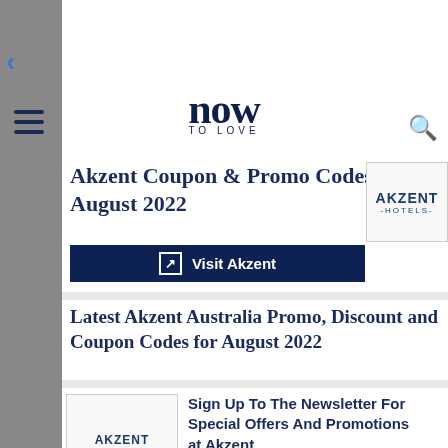now TO LOVE
Akzent Coupon & Promo Codes August 2022
[Figure (logo): Akzent Hotels logo in a bordered box]
Visit Akzent
Latest Akzent Australia Promo, Discount and Coupon Codes for August 2022
[Figure (logo): Akzent Hotels logo thumbnail]
Sign Up To The Newsletter For Special Offers And Promotions at Akzent
Sign up to the newsletter for special offers and promotions